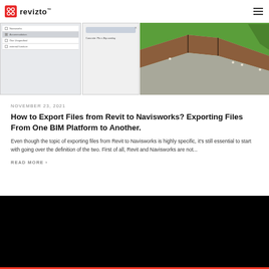Revizto
[Figure (screenshot): Split view showing a Revit/Navisworks dialog panel on the left with checkboxes and options, and a 3D BIM model on the right showing a building structure with green roof, brown walls, and concrete elements from an aerial perspective]
NOVEMBER 23, 2021
How to Export Files from Revit to Navisworks? Exporting Files From One BIM Platform to Another.
Even though the topic of exporting files from Revit to Navisworks is highly specific, it's still essential to start with going over the definition of the two. First of all, Revit and Navisworks are not...
READ MORE
[Figure (photo): Dark/black image area at the bottom of the page, appears to be a thumbnail for another article]